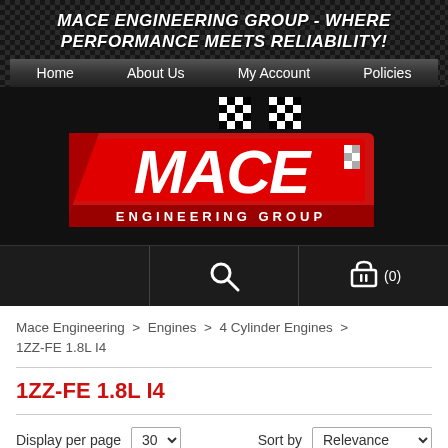MACE ENGINEERING GROUP - WHERE PERFORMANCE MEETS RELIABILITY!
[Figure (logo): Mace Engineering Group logo with checkered flag and red MACE text on black background]
Mace Engineering > Engines > 4 Cylinder Engines > 1ZZ-FE 1.8L I4
1ZZ-FE 1.8L I4
Display per page 30  Sort by Relevance